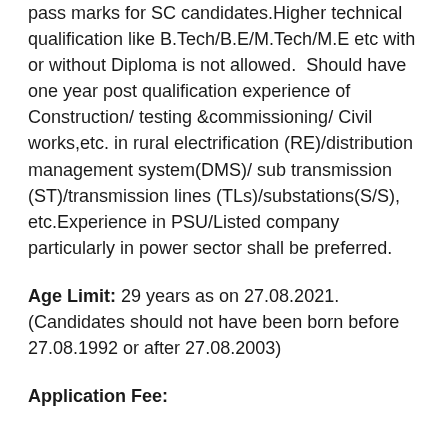pass marks for SC candidates.Higher technical qualification like B.Tech/B.E/M.Tech/M.E etc with or without Diploma is not allowed.  Should have one year post qualification experience of Construction/ testing &commissioning/ Civil works,etc. in rural electrification (RE)/distribution management system(DMS)/ sub transmission (ST)/transmission lines (TLs)/substations(S/S), etc.Experience in PSU/Listed company particularly in power sector shall be preferred.
Age Limit: 29 years as on 27.08.2021. (Candidates should not have been born before 27.08.1992 or after 27.08.2003)
Application Fee: